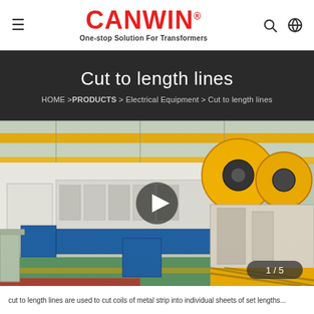CANWIN® — One-stop Solution For Transformers
Cut to length lines
HOME > PRODUCTS > Electrical Equipment > Cut to length lines
[Figure (photo): Factory floor showing industrial cut-to-length line machinery with yellow overhead crane rails, white and blue metal cabinets, large yellow spooling reels, and a green epoxy floor. A video play button is overlaid in the center. Slide indicator '1 / 5' shown in bottom right.]
cut to length lines are used to cut coils of metal strip into individual sheets of set lengths...